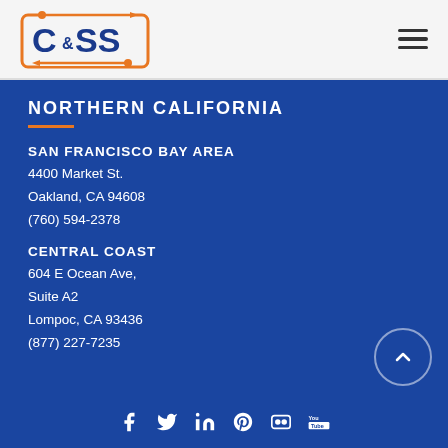C&S Logo and navigation header
[Figure (logo): C&S logo with orange border rectangle and arrows, blue text reading C&SS]
NORTHERN CALIFORNIA
SAN FRANCISCO BAY AREA
4400 Market St.
Oakland, CA 94608
(760) 594-2378
CENTRAL COAST
604 E Ocean Ave,
Suite A2
Lompoc, CA 93436
(877) 227-7235
Social media icons: Facebook, Twitter, LinkedIn, Pinterest, Flickr, YouTube